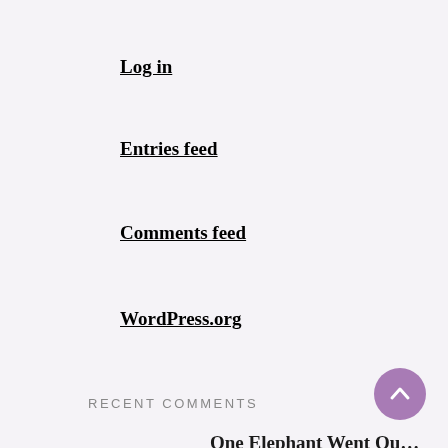Log in
Entries feed
Comments feed
WordPress.org
RECENT COMMENTS
One Elephant Went Ou… on Sharon, Lois & Bram…
The Chuck E Cheese B… on Princess Tiana Birthday Party…
Growing By Four Paws… on One and Done: Our Family is Co…